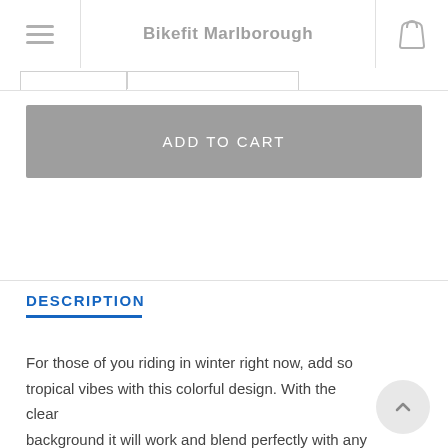Bikefit Marlborough
ADD TO CART
DESCRIPTION
For those of you riding in winter right now, add so tropical vibes with this colorful design. With the clear background it will work and blend perfectly with any bike